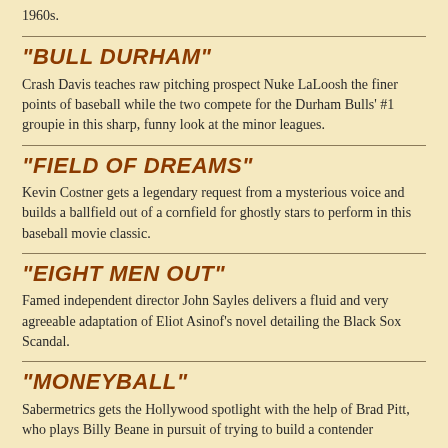1960s.
"BULL DURHAM"
Crash Davis teaches raw pitching prospect Nuke LaLoosh the finer points of baseball while the two compete for the Durham Bulls' #1 groupie in this sharp, funny look at the minor leagues.
"FIELD OF DREAMS"
Kevin Costner gets a legendary request from a mysterious voice and builds a ballfield out of a cornfield for ghostly stars to perform in this baseball movie classic.
"EIGHT MEN OUT"
Famed independent director John Sayles delivers a fluid and very agreeable adaptation of Eliot Asinof's novel detailing the Black Sox Scandal.
"MONEYBALL"
Sabermetrics gets the Hollywood spotlight with the help of Brad Pitt, who plays Billy Beane in pursuit of trying to build a contender